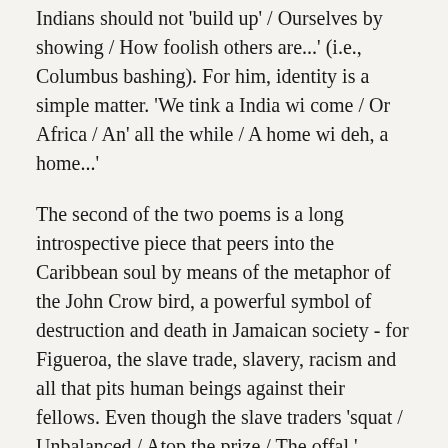Indians should not 'build up' / Ourselves by showing / How foolish others are...' (i.e., Columbus bashing). For him, identity is a simple matter. 'We tink a India wi come / Or Africa / An' all the while / A home wi deh, a home...'
The second of the two poems is a long introspective piece that peers into the Caribbean soul by means of the metaphor of the John Crow bird, a powerful symbol of destruction and death in Jamaican society - for Figueroa, the slave trade, slavery, racism and all that pits human beings against their fellows. Even though the slave traders 'squat / Unbalanced / Atop the prize / The offal,' humankind remains one. 'We witness that no human mixture / Is miscegenation / Aliens for brothers / Mine for ours / Race for culture.' He ends with the moving admonition: 'But like all men must / Watch the enemy within / The certainty of ignorance / The larger